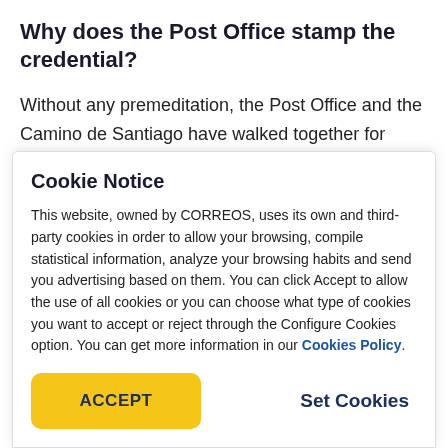Why does the Post Office stamp the credential?
Without any premeditation, the Post Office and the Camino de Santiago have walked together for hundreds of years, as explained on our website. And
Cookie Notice
This website, owned by CORREOS, uses its own and third-party cookies in order to allow your browsing, compile statistical information, analyze your browsing habits and send you advertising based on them. You can click Accept to allow the use of all cookies or you can choose what type of cookies you want to accept or reject through the Configure Cookies option. You can get more information in our Cookies Policy.
ACCEPT
Set Cookies